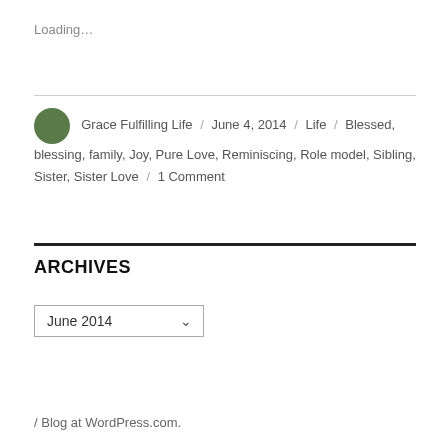Loading…
Grace Fulfilling Life / June 4, 2014 / Life / Blessed, blessing, family, Joy, Pure Love, Reminiscing, Role model, Sibling, Sister, Sister Love / 1 Comment
ARCHIVES
June 2014
/ Blog at WordPress.com.